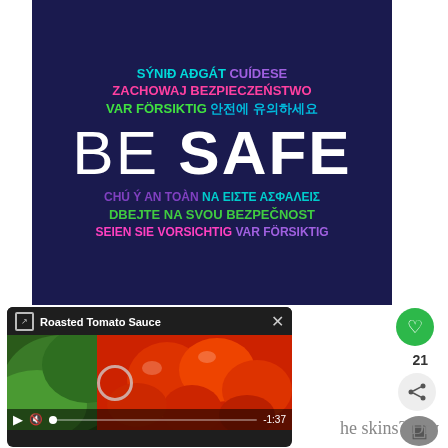[Figure (infographic): Dark navy blue poster with multilingual 'BE SAFE' public safety message in multiple colors and languages]
[Figure (screenshot): Video player card showing 'Roasted Tomato Sauce' recipe video with tomatoes and basil, controls showing -1:37 remaining]
he skins? Dry
21